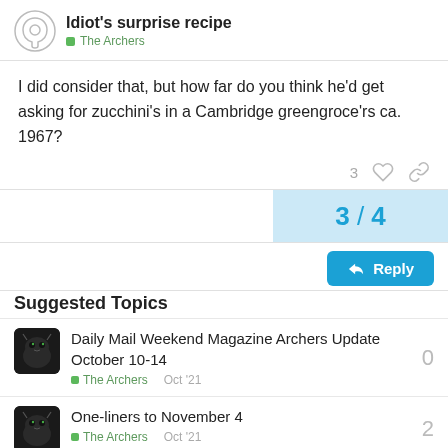Idiot's surprise recipe
The Archers
I did consider that, but how far do you think he'd get asking for zucchini's in a Cambridge greengroce'rs ca. 1967?
3
3 / 4
Reply
Suggested Topics
Daily Mail Weekend Magazine Archers Update October 10-14
The Archers  Oct '21  0
One-liners to November 4
The Archers  Oct '21  2
Radio Times Ambridgo Diary